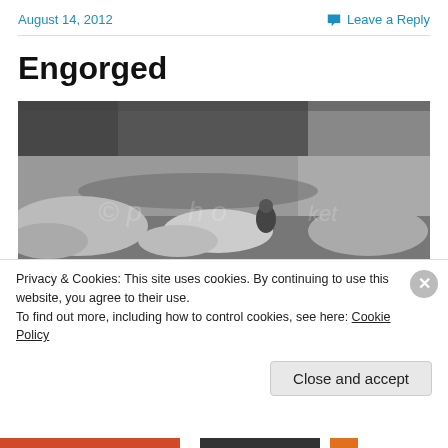August 14, 2012    Leave a Reply
Engorged
[Figure (photo): Black and white photograph of a rocky river scene with dense vegetation and cliffs in the background. A person is sitting on rocks in the middle distance.]
Privacy & Cookies: This site uses cookies. By continuing to use this website, you agree to their use.
To find out more, including how to control cookies, see here: Cookie Policy
Close and accept